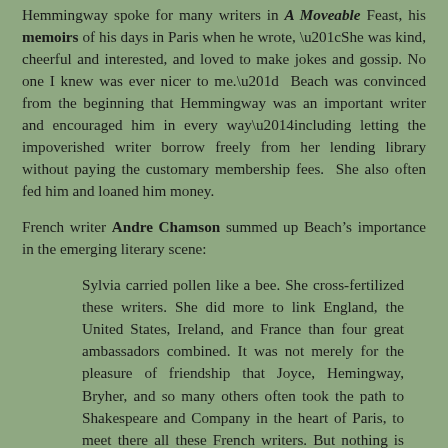Hemmingway spoke for many writers in A Moveable Feast, his memoirs of his days in Paris when he wrote, “She was kind, cheerful and interested, and loved to make jokes and gossip. No one I knew was ever nicer to me.” Beach was convinced from the beginning that Hemmingway was an important writer and encouraged him in every way—including letting the impoverished writer borrow freely from her lending library without paying the customary membership fees. She also often fed him and loaned him money.
French writer Andre Chamson summed up Beach’s importance in the emerging literary scene:
Sylvia carried pollen like a bee. She cross-fertilized these writers. She did more to link England, the United States, Ireland, and France than four great ambassadors combined. It was not merely for the pleasure of friendship that Joyce, Hemingway, Bryher, and so many others often took the path to Shakespeare and Company in the heart of Paris, to meet there all these French writers. But nothing is more mysterious than such fertilizations through dialogue, reading, or simple contact.
Hemmingway may have been a special friend and protégé, but of all of the writers who hung out at her shop she cared most deeply